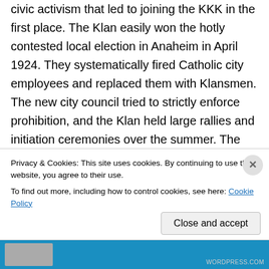civic activism that led to joining the KKK in the first place. The Klan easily won the hotly contested local election in Anaheim in April 1924. They systematically fired Catholic city employees and replaced them with Klansmen. The new city council tried to strictly enforce prohibition, and the Klan held large rallies and initiation ceremonies over the summer. The opposition organized, bribed a Klansman for the secret membership list, exposed the Klansmen running in the primaries and defeated most of them. The antis stepped up the campaign in 1925 and succeeded in
Privacy & Cookies: This site uses cookies. By continuing to use this website, you agree to their use.
To find out more, including how to control cookies, see here: Cookie Policy